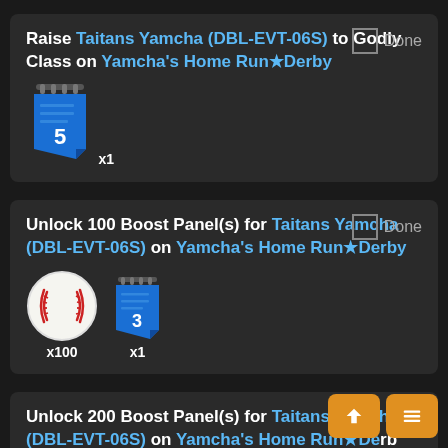Raise Taitans Yamcha (DBL-EVT-06S) to Godly Class on Yamcha's Home Run★Derby
[Figure (illustration): Blue ticket/notepad icon with number 5, labeled x1]
Unlock 100 Boost Panel(s) for Taitans Yamcha (DBL-EVT-06S) on Yamcha's Home Run★Derby
[Figure (illustration): Baseball icon labeled x100 and blue ticket/notepad icon with number 3 labeled x1]
Unlock 200 Boost Panel(s) for Taitans Yamcha (DBL-EVT-06S) on Yamcha's Home Run★Derby
[Figure (illustration): Bat icon and blue ticket/notepad icon (partially visible), Done checkbox visible]